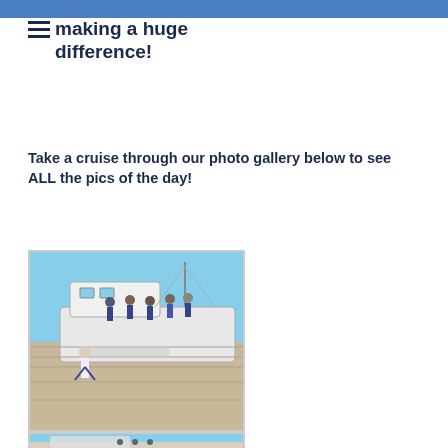making a huge difference!
Take a cruise through our photo gallery below to see ALL the pics of the day!
[Figure (photo): Group of people standing on the deck of a boat at a marina dock]
[Figure (photo): Partial view of people near a boat at a marina, bottom of page]